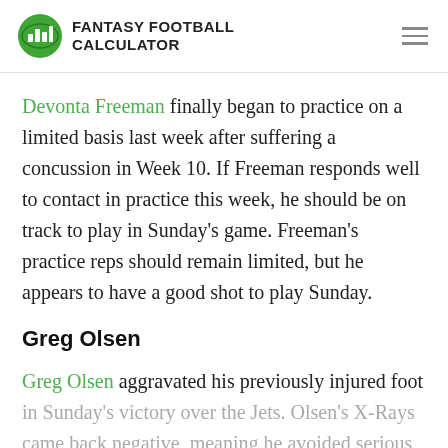FANTASY FOOTBALL CALCULATOR
Devonta Freeman finally began to practice on a limited basis last week after suffering a concussion in Week 10. If Freeman responds well to contact in practice this week, he should be on track to play in Sunday's game. Freeman's practice reps should remain limited, but he appears to have a good shot to play Sunday.
Greg Olsen
Greg Olsen aggravated his previously injured foot in Sunday's victory over the Jets. Olsen's X-Rays came back negative, meaning he avoided serious